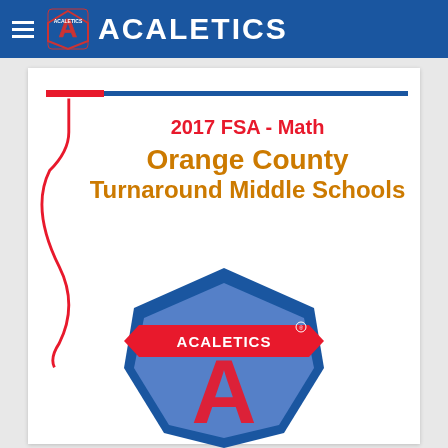ACALETICS
2017 FSA - Math Orange County Turnaround Middle Schools
[Figure (logo): Acaletics logo with large letter A in red on blue shield background, with banner reading ACALETICS and tagline Math. Trust. Results.]